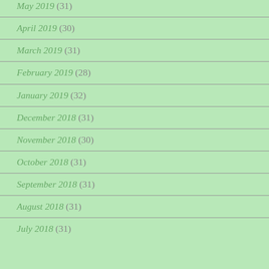May 2019 (31)
April 2019 (30)
March 2019 (31)
February 2019 (28)
January 2019 (32)
December 2018 (31)
November 2018 (30)
October 2018 (31)
September 2018 (31)
August 2018 (31)
July 2018 (31)